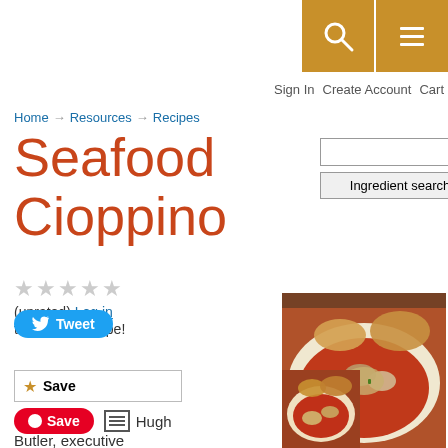Sign In  Create Account  Cart
Home → Resources → Recipes
Seafood Cioppino
Ingredient search (input + button + help icon)
★★★★★ (unrated) Log in to rate this recipe!
☆ Save
Tweet
[Figure (photo): Bowl of Seafood Cioppino with bread slices, tomato broth, clams and seafood on a white plate]
[Figure (photo): Thumbnail of Seafood Cioppino]
Save
Hugh Butler, executive